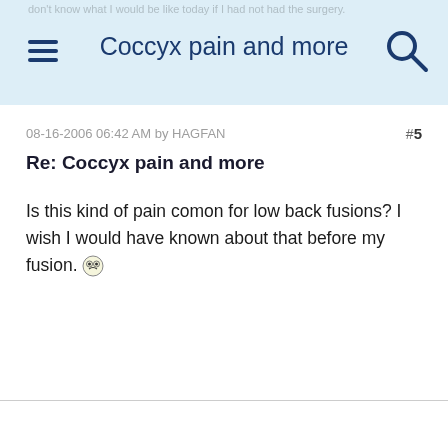Coccyx pain and more
08-16-2006 06:42 AM by HAGFAN  #5
Re: Coccyx pain and more
Is this kind of pain comon for low back fusions? I wish I would have known about that before my fusion. 😲